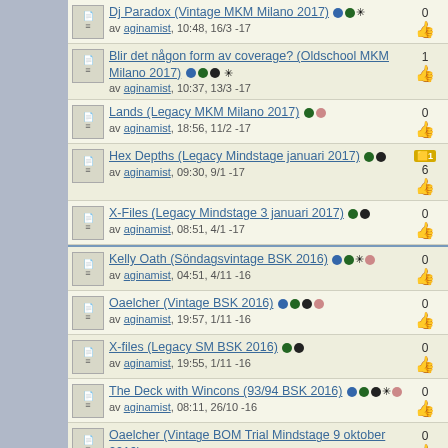Dj Paradox (Vintage MKM Milano 2017) av aginamist, 10:48, 16/3 -17, 0 likes
Blir det någon form av coverage? (Oldschool MKM Milano 2017) av aginamist, 10:37, 13/3 -17, 1 like
Lands (Legacy MKM Milano 2017) av aginamist, 18:56, 11/2 -17, 0 likes
Hex Depths (Legacy Mindstage januari 2017) av aginamist, 09:30, 9/1 -17, 6 likes
X-Files (Legacy Mindstage 3 januari 2017) av aginamist, 08:51, 4/1 -17, 0 likes
Kelly Oath (Söndagsvintage BSK 2016) av aginamist, 04:51, 4/11 -16, 0 likes
Oaelcher (Vintage BSK 2016) av aginamist, 19:57, 1/11 -16, 0 likes
X-files (Legacy SM BSK 2016) av aginamist, 19:55, 1/11 -16, 0 likes
The Deck with Wincons (93/94 BSK 2016) av aginamist, 08:11, 26/10 -16, 0 likes
Oaelcher (Vintage BOM Trial Mindstage 9 oktober 2016) av aginamist, 17:32, 7/10 -16, 0 likes
X-Files (Legacy BOM Trial Mindstage 8 oktober 2016) av aginamist, 0 likes